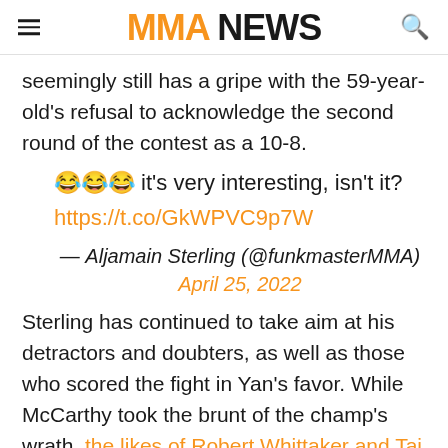MMA NEWS
seemingly still has a gripe with the 59-year-old's refusal to acknowledge the second round of the contest as a 10-8.
😂😂😂 it's very interesting, isn't it? https://t.co/GkWPVC9p7W
— Aljamain Sterling (@funkmasterMMA) April 25, 2022
Sterling has continued to take aim at his detractors and doubters, as well as those who scored the fight in Yan's favor. While McCarthy took the brunt of the champ's wrath, the likes of Robert Whittaker and Tai Tuivasa also didn't